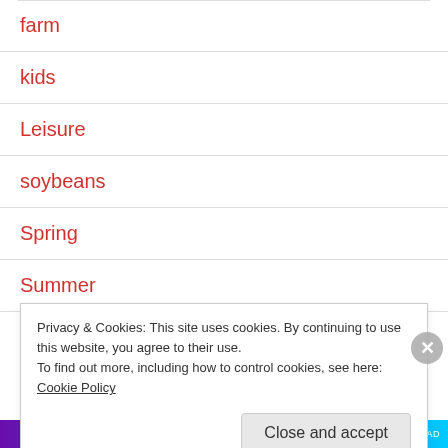farm
kids
Leisure
soybeans
Spring
Summer
Uncategorized
Privacy & Cookies: This site uses cookies. By continuing to use this website, you agree to their use.
To find out more, including how to control cookies, see here: Cookie Policy
Close and accept